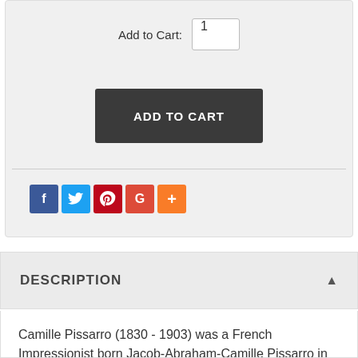Add to Cart: 1
ADD TO CART
[Figure (other): Social sharing icons: Facebook (blue), Twitter (light blue), Pinterest (red), Google (red-orange), More (orange)]
DESCRIPTION ▲
Camille Pissarro (1830 - 1903) was a French Impressionist born Jacob-Abraham-Camille Pissarro in